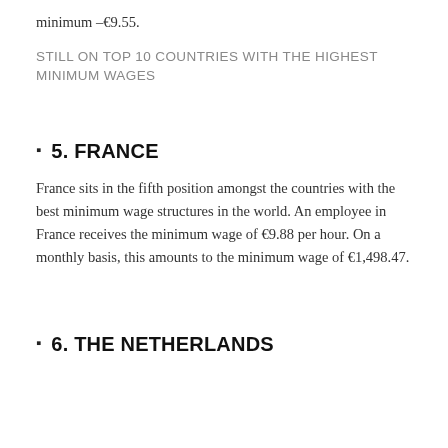minimum –€9.55.
STILL ON TOP 10 COUNTRIES WITH THE HIGHEST MINIMUM WAGES
5. FRANCE
France sits in the fifth position amongst the countries with the best minimum wage structures in the world. An employee in France receives the minimum wage of €9.88 per hour. On a monthly basis, this amounts to the minimum wage of €1,498.47.
6. THE NETHERLANDS